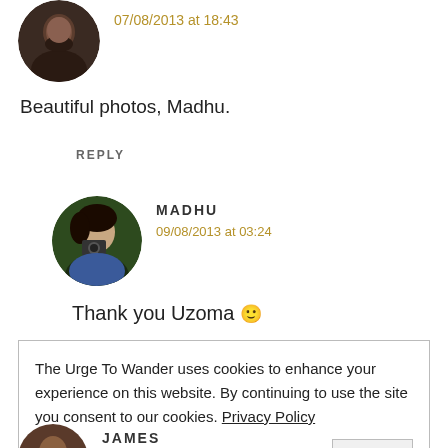[Figure (photo): Circular avatar of a man with beard]
07/08/2013 at 18:43
Beautiful photos, Madhu.
REPLY
[Figure (photo): Circular avatar of a woman with camera, named Madhu]
MADHU
09/08/2013 at 03:24
Thank you Uzoma 🙂
The Urge To Wander uses cookies to enhance your experience on this website. By continuing to use the site you consent to our cookies. Privacy Policy
OK